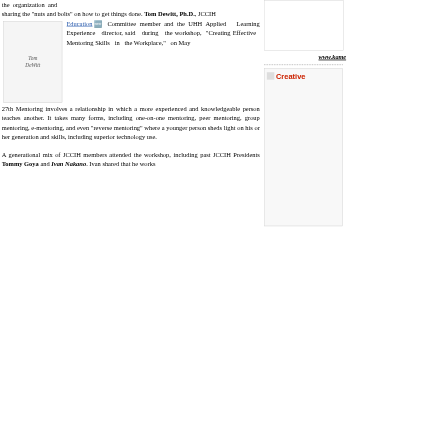the organization and sharing the "nuts and bolts" on how to get things done. Tom Dewitt, Ph.D., JCCIH Education Committee member and the UHH Applied Learning Experience director, said during the workshop, "Creating Effective Mentoring Skills in the Workplace," on May 27th Mentoring involves a relationship in which a more experienced and knowledgeable person teaches another. It takes many forms, including one-on-one mentoring, peer mentoring, group mentoring, e-mentoring, and even "reverse mentoring" where a younger person sheds light on his or her generation and skills, including superior technology use.
A generational mix of JCCIH members attended the workshop, including past JCCIH Presidents Tommy Goya and Ivan Nakano. Ivan shared that he works
[Figure (photo): Photo placeholder labeled Tom DeWitt]
www.kame...
[Figure (photo): Creative image placeholder with red text 'Creative']